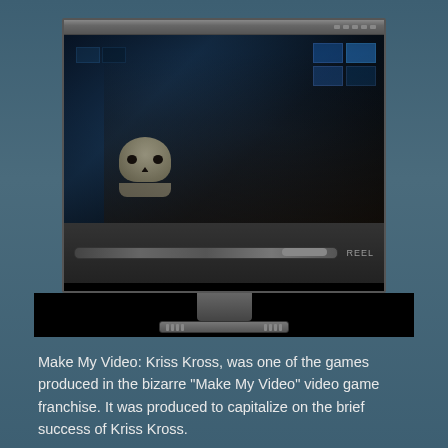[Figure (screenshot): Screenshot of the video game 'Make My Video: Kriss Kross' showing a person holding a skull in front of monitors/screens in a dark sci-fi control room setting. The image is displayed inside a simulated computer monitor UI with a control panel below.]
Make My Video: Kriss Kross, was one of the games produced in the bizarre "Make My Video" video game franchise. It was produced to capitalize on the brief success of Kriss Kross.
View Game